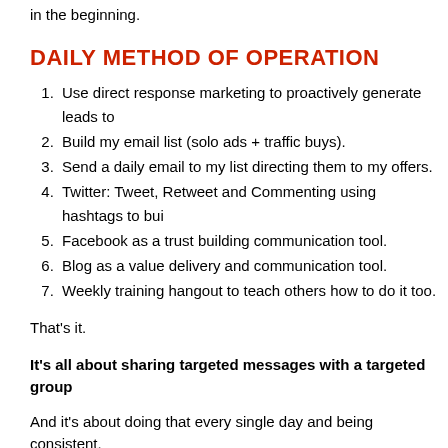in the beginning.
DAILY METHOD OF OPERATION
Use direct response marketing to proactively generate leads to
Build my email list (solo ads + traffic buys).
Send a daily email to my list directing them to my offers.
Twitter: Tweet, Retweet and Commenting using hashtags to bui
Facebook as a trust building communication tool.
Blog as a value delivery and communication tool.
Weekly training hangout to teach others how to do it too.
That's it.
It's all about sharing targeted messages with a targeted group
And it's about doing that every single day and being consistent.
I use leveraged affiliate marketing to monetize my social media and